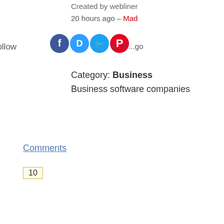Created by webliner 20 hours ago – Made ...
Follow
[Figure (infographic): Social sharing icons: Facebook (blue circle), Disqus (blue circle with D), Twitter (blue circle with bird), Pinterest (red circle with P)]
a...7 ...go
Category: Business Business software companies
Comments
10
10
Halogenerator Salt
https://halogeneratorsalt.com – Ha... Salt Supply is the only comp... specializing in providing pha... and specialty salt for halogen... in halotherapy also known as... Our products are packaged i... environment ensuring purity ... humidity level. Read more »
[Figure (logo): Halogenerator Salt company logo - blue diamond shape with H and N letters]
Created by vulawoff... hours ago – Made p...